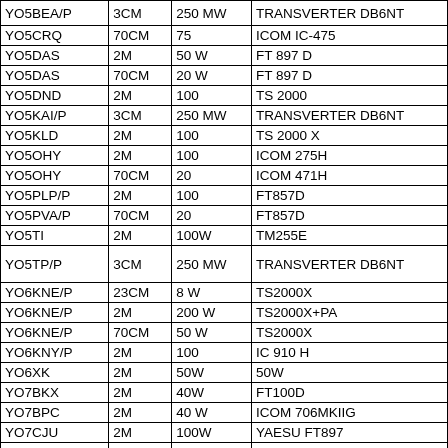| Callsign | Band | Power | Equipment |
| --- | --- | --- | --- |
| YO5BEA/P | 3CM | 250 MW | TRANSVERTER DB6NT |
| YO5CRQ | 70CM | 75 | ICOM IC-475 |
| YO5DAS | 2M | 50 W | FT 897 D |
| YO5DAS | 70CM | 20 W | FT 897 D |
| YO5DND | 2M | 100 | TS 2000 |
| YO5KAI/P | 3CM | 250 MW | TRANSVERTER DB6NT |
| YO5KLD | 2M | 100 | TS 2000 X |
| YO5OHY | 2M | 100 | ICOM 275H |
| YO5OHY | 70CM | 20 | ICOM 471H |
| YO5PLP/P | 2M | 100 | FT857D |
| YO5PVA/P | 70CM | 20 | FT857D |
| YO5TI | 2M | 100W | TM255E |
| YO5TP/P | 3CM | 250 MW | TRANSVERTER DB6NT |
| YO6KNE/P | 23CM | 8 W | TS2000X |
| YO6KNE/P | 2M | 200 W | TS2000X+PA |
| YO6KNE/P | 70CM | 50 W | TS2000X |
| YO6KNY/P | 2M | 100 | IC 910 H |
| YO6XK | 2M | 50W | 50W |
| YO7BKX | 2M | 40W | FT100D |
| YO7BPC | 2M | 40 W | ICOM 706MKIIG |
| YO7CJU | 2M | 100W | YAESU FT897 |
| YO7CKR | 2M | 50 W | FT 897 |